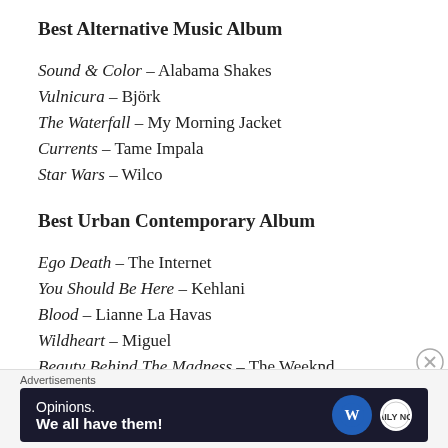Best Alternative Music Album
Sound & Color – Alabama Shakes
Vulnicura – Björk
The Waterfall – My Morning Jacket
Currents – Tame Impala
Star Wars – Wilco
Best Urban Contemporary Album
Ego Death – The Internet
You Should Be Here – Kehlani
Blood – Lianne La Havas
Wildheart – Miguel
Beauty Behind The Madness – The Weeknd
Best R&B Album
Advertisements
[Figure (other): Advertisement banner: Opinions. We all have them! with WordPress and another logo on dark background]